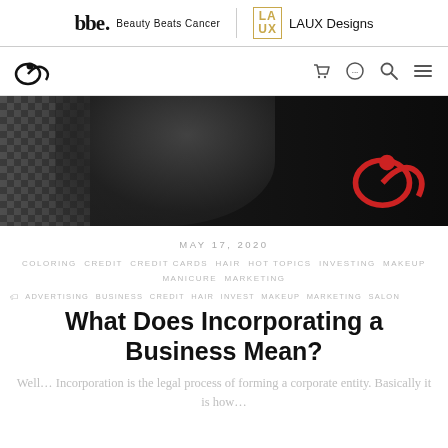Beauty Beats Cancer | LAUX Designs
[Figure (logo): Navigation bar with spiral logo and icons for cart, profile, search, and menu]
[Figure (photo): Hero image: black and white photo of person with dark hair, checkered pattern on left, red spiral logo overlay on right]
MAY 17, 2020
COLORING CREDIT CREDIT CARDS HAIR HOT TOPICS INVESTING MAKEUP MANICURE MARKETING
ADVERTISING BUSINESS CREDIT HAIR INVEST MAKEUP MARKETING SALON
What Does Incorporating a Business Mean?
Well… Incorporation is the legal process of forming a corporate entity. Basically it is how…